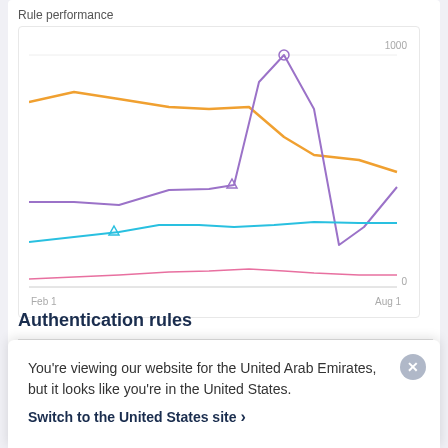[Figure (line-chart): Multi-line chart showing rule performance from Feb 1 to Aug 1, with y-axis from 0 to 1000. Four lines: orange (highest, ~800-900), purple (mid, peaks ~1000), cyan (mid-low, ~300-400), pink (lowest, ~50).]
Authentication rules
You're viewing our website for the United Arab Emirates, but it looks like you're in the United States.
Switch to the United States site ›